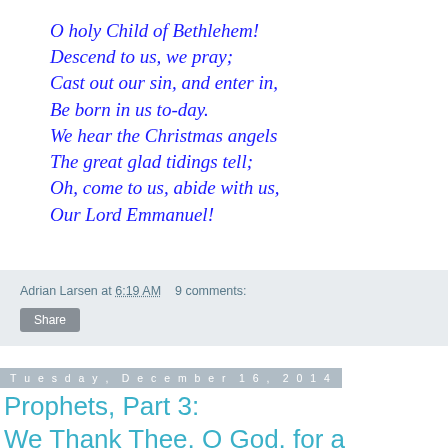O holy Child of Bethlehem!
Descend to us, we pray;
Cast out our sin, and enter in,
Be born in us to-day.
We hear the Christmas angels
The great glad tidings tell;
Oh, come to us, abide with us,
Our Lord Emmanuel!
Adrian Larsen at 6:19 AM   9 comments:
Share
Tuesday, December 16, 2014
Prophets, Part 3: We Thank Thee, O God, for a Princess